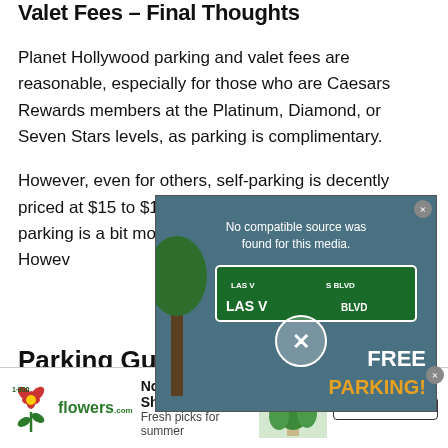Valet Fees – Final Thoughts
Planet Hollywood parking and valet fees are reasonable, especially for those who are Caesars Rewards members at the Platinum, Diamond, or Seven Stars levels, as parking is complimentary.
However, even for others, self-parking is decently priced at $15 to $18 after the free first hour. Valet parking is a bit more expensive, ranging from $30 to $36. However, valet parking is a great option for those who want convenience.
[Figure (screenshot): Video player overlay showing 'No compatible source was found for this media.' with a street sign image for Las Vegas Blvd and text 'FREE PARKING!' in gold/white]
Parking Gui…
[Figure (screenshot): Advertisement banner for 1-800-flowers.com: 'Now in the Plant Shop – Fresh picks for summer' with plant image and 'SEE WHAT'S NEW' button]